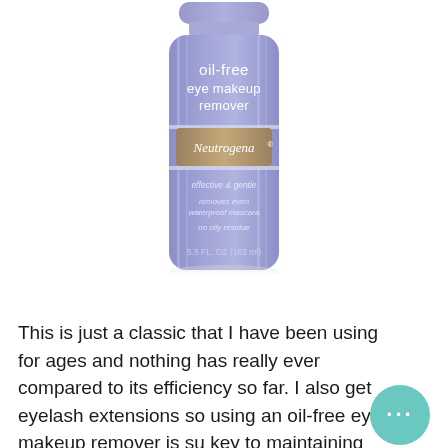[Figure (photo): Neutrogena Oil-Free Eye Makeup Remover bottle (162ml/5.5 fl oz), lavender/blue color with Neutrogena logo and product claims: effective & gentle, removes even waterproof mascara, no oily residue]
This is just a classic that I have been using for ages and nothing has really ever compared to its efficiency so far. I also get eyelash extensions so using an oil-free eye makeup remover is su key to maintaining them.